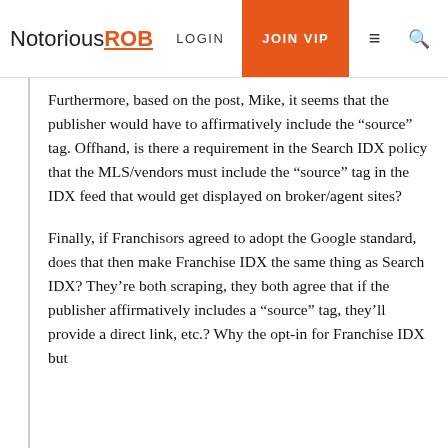NotoriousROB  LOGIN  JOIN VIP
Furthermore, based on the post, Mike, it seems that the publisher would have to affirmatively include the “source” tag. Offhand, is there a requirement in the Search IDX policy that the MLS/vendors must include the “source” tag in the IDX feed that would get displayed on broker/agent sites?
Finally, if Franchisors agreed to adopt the Google standard, does that then make Franchise IDX the same thing as Search IDX? They’re both scraping, they both agree that if the publisher affirmatively includes a “source” tag, they’ll provide a direct link, etc.? Why the opt-in for Franchise IDX but